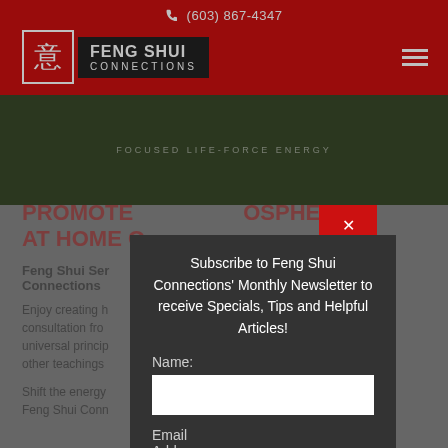(603) 867-4347
[Figure (logo): Feng Shui Connections logo with Chinese character and text on dark background]
[Figure (photo): Hero image showing a forest/garden scene with text 'FOCUSED LIFE-FORCE ENERGY']
PROMOTE ... OSPHERE AT HOME O...
Feng Shui Ser... Shui Connections
Enjoy creating h... life with a consultation fro... on the universal princip... h physics and other teachings ... ess.
Shift the energy... with the help of Feng Shui Conn... , NH, and we
[Figure (screenshot): Modal popup with newsletter subscription form containing Name and Email Address fields]
Subscribe to Feng Shui Connections' Monthly Newsletter to receive Specials, Tips and Helpful Articles!